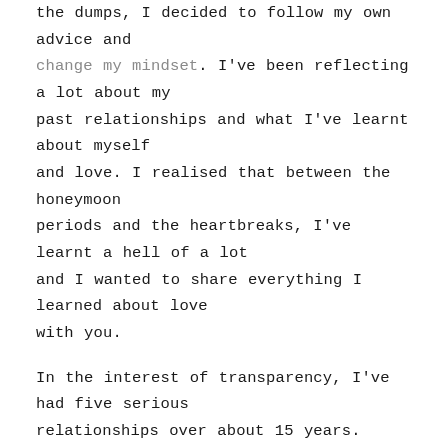the dumps, I decided to follow my own advice and change my mindset. I've been reflecting a lot about my past relationships and what I've learnt about myself and love. I realised that between the honeymoon periods and the heartbreaks, I've learnt a hell of a lot and I wanted to share everything I learned about love with you.

In the interest of transparency, I've had five serious relationships over about 15 years. After thinking about these relationships, I've learnt that I've loved A LOT. While I love *love* and being in love but I haven't always picked the right person which has led to a lot of heartbreak. But I've also been lucky enough to meet some incredible men and even a couple who I'll always love in one capacity, how beautiful is that? I'm grateful for all of the experiences, every high and every low. I